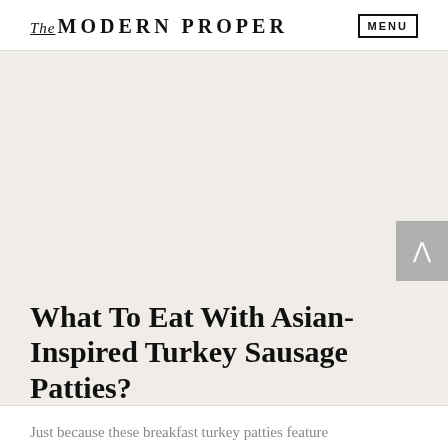The MODERN PROPER | MENU
[Figure (photo): Light beige/cream colored hero image area, mostly empty/blank]
What To Eat With Asian-Inspired Turkey Sausage Patties?
Just because these breakfast turkey patties feature Asian-inspired ingredients doesn't mean they aren't